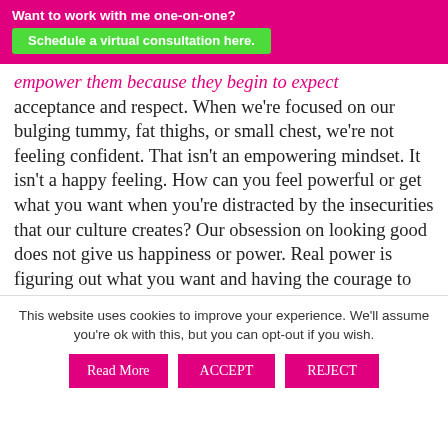Want to work with me one-on-one? Schedule a virtual consultation here.
empower them because they begin to expect acceptance and respect. When we're focused on our bulging tummy, fat thighs, or small chest, we're not feeling confident. That isn't an empowering mindset. It isn't a happy feeling. How can you feel powerful or get what you want when you're distracted by the insecurities that our culture creates? Our obsession on looking good does not give us happiness or power. Real power is figuring out what you want and having the courage to do what works for you.
Empowerment means knowing that inner beauty is
This website uses cookies to improve your experience. We'll assume you're ok with this, but you can opt-out if you wish.
Read More
ACCEPT
REJECT